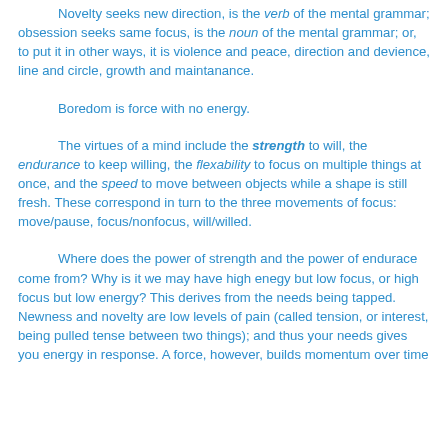Novelty seeks new direction, is the verb of the mental grammar; obsession seeks same focus, is the noun of the mental grammar; or, to put it in other ways, it is violence and peace, direction and devience, line and circle, growth and maintanance.
Boredom is force with no energy.
The virtues of a mind include the strength to will, the endurance to keep willing, the flexability to focus on multiple things at once, and the speed to move between objects while a shape is still fresh. These correspond in turn to the three movements of focus: move/pause, focus/nonfocus, will/willed.
Where does the power of strength and the power of endurace come from? Why is it we may have high enegy but low focus, or high focus but low energy? This derives from the needs being tapped. Newness and novelty are low levels of pain (called tension, or interest, being pulled tense between two things); and thus your needs gives you energy in response. A force, however, builds momentum over time